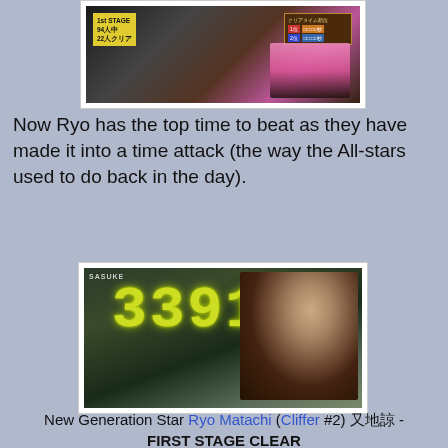[Figure (screenshot): TV screenshot showing 1st Stage scoreboard with '94人中 22人クリア' text and a score display on the right]
Now Ryo has the top time to beat as they have made it into a time attack (the way the All-stars used to do back in the day).
[Figure (screenshot): TV screenshot showing a digital timer display reading '3391' and a smiling man in a black sleeveless shirt pointing upward with one finger, at SASUKE obstacle course]
New Generation Star Ryo Matachi (Cliffer #2) 又地諒 - FIRST STAGE CLEAR
[Figure (screenshot): TV screenshot showing crowd of spectators at SASUKE event]